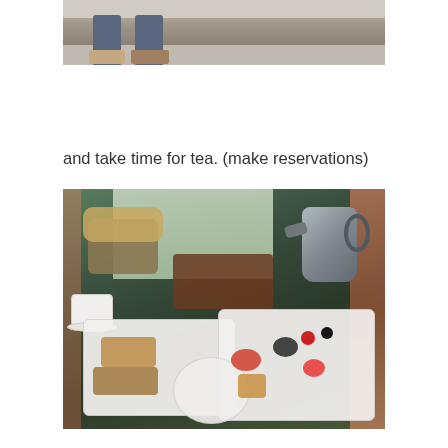[Figure (photo): Partial view of a person's legs and feet wearing sandals, standing on a sidewalk or street, photographed from above]
and take time for tea. (make reservations)
[Figure (photo): A tea table spread with plates of pastries, sandwiches, and small desserts with berries, a white teacup on a saucer, a metallic teapot, a bread basket, and a tray with condiments, photographed in a room with floral curtains]